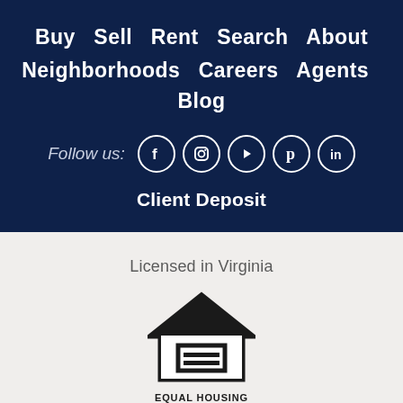Buy  Sell  Rent  Search  About
Neighborhoods  Careers  Agents  Blog
[Figure (infographic): Follow us: row of 5 social media icons (Facebook, Instagram, YouTube/Play, Pinterest, LinkedIn) as white circles on dark navy background]
Client Deposit
Licensed in Virginia
[Figure (logo): Equal Housing Opportunity logo: house outline with equals sign inside, text 'EQUAL HOUSING OPPORTUNITY' below]